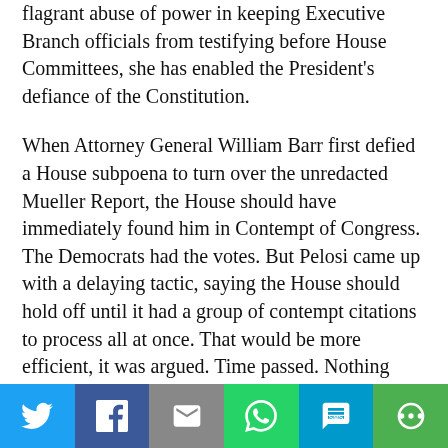flagrant abuse of power in keeping Executive Branch officials from testifying before House Committees, she has enabled the President's defiance of the Constitution.
When Attorney General William Barr first defied a House subpoena to turn over the unredacted Mueller Report, the House should have immediately found him in Contempt of Congress. The Democrats had the votes. But Pelosi came up with a delaying tactic, saying the House should hold off until it had a group of contempt citations to process all at once. That would be more efficient, it was argued. Time passed. Nothing happened. Barr was never held in contempt.
Seeing that there were no consequences for defying House subpoenas, Trump adopted a
[Figure (other): Social share bar with Twitter, Facebook, Email, WhatsApp, SMS, and More buttons]